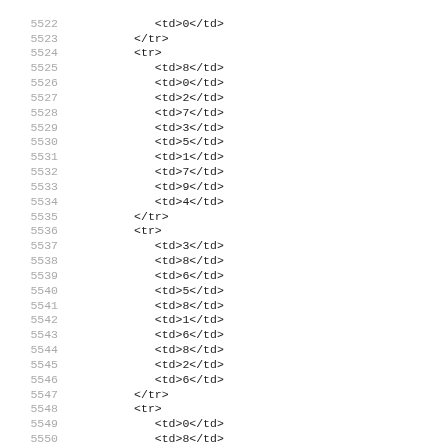5522    <td>0</td>
5523    </tr>
5524    <tr>
5525      <td>8</td>
5526      <td>0</td>
5527      <td>2</td>
5528      <td>7</td>
5529      <td>3</td>
5530      <td>5</td>
5531      <td>1</td>
5532      <td>7</td>
5533      <td>9</td>
5534      <td>4</td>
5535    </tr>
5536    <tr>
5537      <td>3</td>
5538      <td>8</td>
5539      <td>6</td>
5540      <td>5</td>
5541      <td>8</td>
5542      <td>1</td>
5543      <td>6</td>
5544      <td>8</td>
5545      <td>2</td>
5546      <td>6</td>
5547    </tr>
5548    <tr>
5549      <td>0</td>
5550      <td>8</td>
5551      <td>4</td>
5552      <td>6</td>
5553      <td>1</td>
5554      <td>0</td>